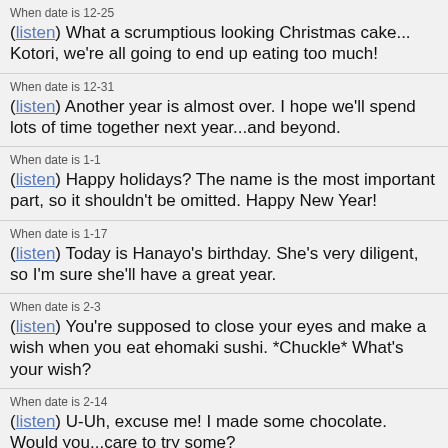When date is 12-25
(listen) What a scrumptious looking Christmas cake... Kotori, we're all going to end up eating too much!
When date is 12-31
(listen) Another year is almost over. I hope we'll spend lots of time together next year...and beyond.
When date is 1-1
(listen) Happy holidays? The name is the most important part, so it shouldn't be omitted. Happy New Year!
When date is 1-17
(listen) Today is Hanayo's birthday. She's very diligent, so I'm sure she'll have a great year.
When date is 2-3
(listen) You're supposed to close your eyes and make a wish when you eat ehomaki sushi. *Chuckle* What's your wish?
When date is 2-14
(listen) U-Uh, excuse me! I made some chocolate. Would you...care to try some?
When date is 3-3